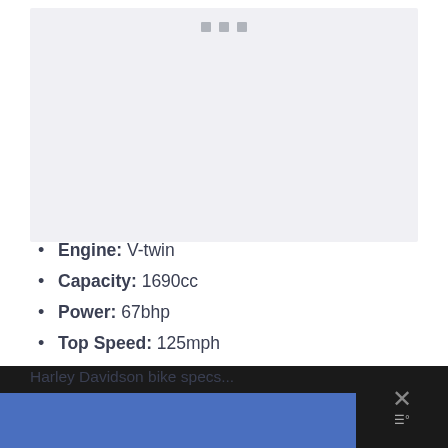[Figure (photo): Image placeholder area with three small squares at top, light gray background representing a motorcycle photo]
Engine: V-twin
Capacity: 1690cc
Power: 67bhp
Top Speed: 125mph
Wet Weight: 302kg
Harley Davidson bike specs page with blue banner overlay and close button